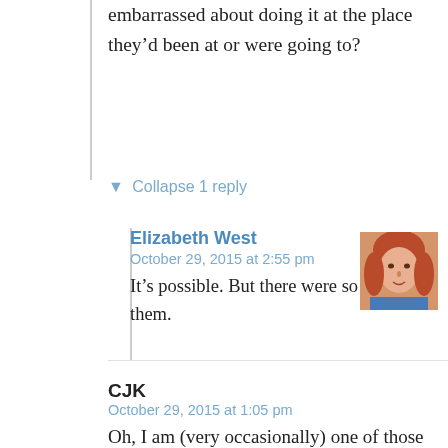embarrassed about doing it at the place they'd been at or were going to?
▼ Collapse 1 reply
Elizabeth West
October 29, 2015 at 2:55 pm
It's possible. But there were so many of them.
CJK
October 29, 2015 at 1:05 pm
Oh, I am (very occasionally) one of those people! But I work for my local government and do work at construction sites so sometimes I'm in an area where there is just no other close-by option than to pop into a business and ask to use theirs. I always explain myself and am always so self-conscious of being seen as a